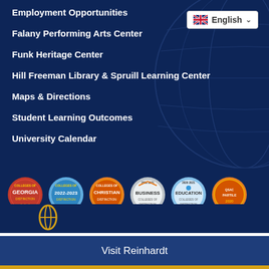Employment Opportunities
Falany Performing Arts Center
Funk Heritage Center
Hill Freeman Library & Spruill Learning Center
Maps & Directions
Student Learning Outcomes
University Calendar
[Figure (logo): Language selector showing UK flag and English with dropdown arrow]
[Figure (infographic): Row of six circular badge logos: Georgia Colleges of Distinction, 2022-2023 Colleges of Distinction, Christian Colleges of Distinction, Business Colleges of Distinction, Education Colleges of Distinction, and another recognition badge]
[Figure (logo): Small golden circular logo at bottom left]
Visit Reinhardt